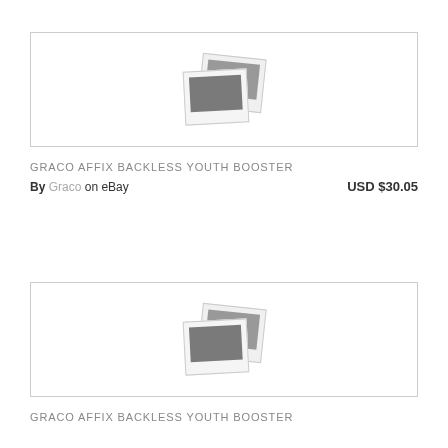[Figure (other): Product image placeholder with two overlapping photo icons]
GRACO AFFIX BACKLESS YOUTH BOOSTER
By Graco on eBay   USD $30.05
[Figure (other): Product image placeholder with two overlapping photo icons]
GRACO AFFIX BACKLESS YOUTH BOOSTER